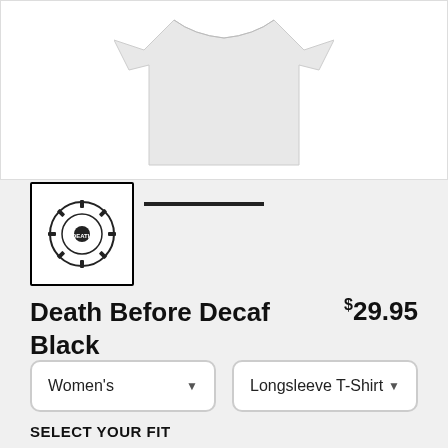[Figure (photo): White longsleeve t-shirt product photo on white background]
[Figure (logo): Small thumbnail of Death Before Decaf emblem/logo badge]
Death Before Decaf Black
$29.95
Women's (dropdown)
Longsleeve T-Shirt (dropdown)
SELECT YOUR FIT
$29.95 Baseball Triblend
$40.45 Scoop Neck